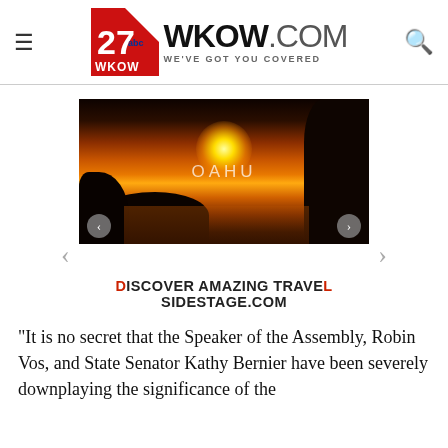27 WKOW.COM — WE'VE GOT YOU COVERED
[Figure (photo): Sunset photo of Oahu coastline with rocky cliffs, glowing orange sky and text 'OAHU' overlaid]
DISCOVER AMAZING TRAVEL
SIDESTAGE.COM
“It is no secret that the Speaker of the Assembly, Robin Vos, and State Senator Kathy Bernier have been severely downplaying the significance of the